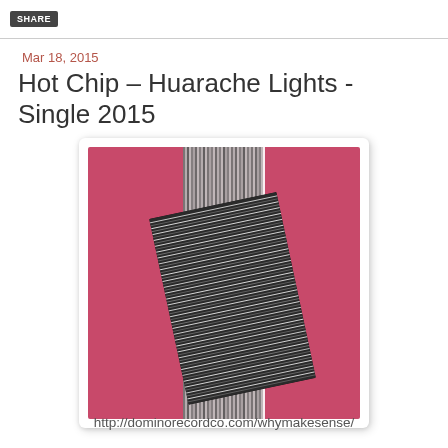Mar 18, 2015
Hot Chip – Huarache Lights - Single 2015
[Figure (illustration): Album art for Hot Chip Huarache Lights Single 2015. Pink/crimson square background with vertical black and white lines forming a barcode-like pattern, overlaid with a large tilted rectangular block of dense horizontal wavy parallel lines in dark grey, creating a moiré-like optical effect.]
http://dominorecordco.com/whymakesense/